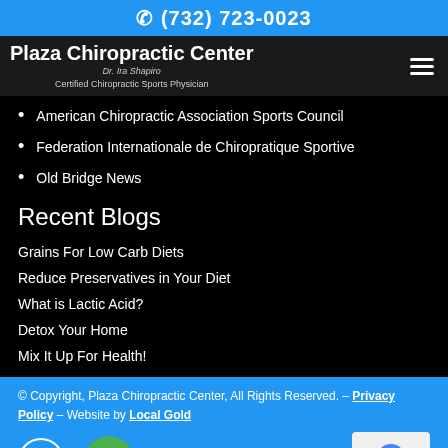(732) 723-0023
Plaza Chiropractic Center
Dr. Ira Shapiro
Certified Chiropractic Sports Physician
American Chiropractic Association Sports Council
Federation Internationale de Chiropratique Sportive
Old Bridge News
Recent Blogs
Grains For Low Carb Diets
Reduce Preservatives in Your Diet
What is Lactic Acid?
Detox Your Home
Mix It Up For Health!
© Copyright, Plaza Chiropractic Center, All Rights Reserved. – Privacy Policy – Website by Local Gold